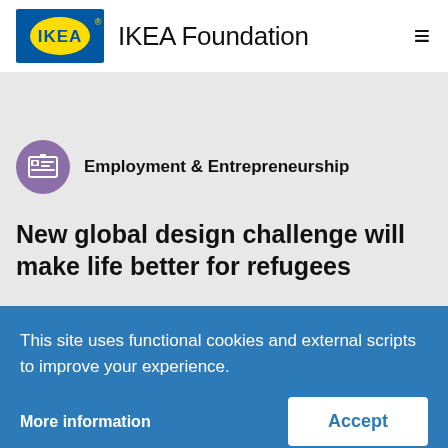IKEA Foundation
Employment & Entrepreneurship
New global design challenge will make life better for refugees
February 19, 2016
This site uses functional cookies and external scripts to improve your experience.
More information
Accept